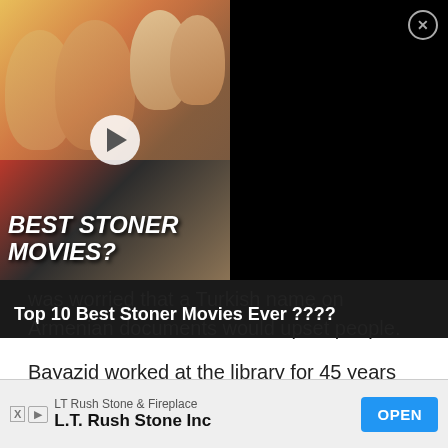[Figure (screenshot): Video thumbnail advertisement for 'Top 10 Best Stoner Movies Ever ????' showing movie scenes with text overlay 'BEST STONER MOVIES?' and a play button, with close (X) button in top right corner on black background.]
was worried that a Turkish name on Armenian documents would upset people.
Bayazid worked at the library for 45 years before he retired. He still lives in New York.
4 The Nepalese Royal Family Ended In A Murder-Suicide
[Figure (screenshot): Bottom advertisement bar: LT Rush Stone & Fireplace, L.T. Rush Stone Inc, with OPEN button in blue, and X and play icons on left.]